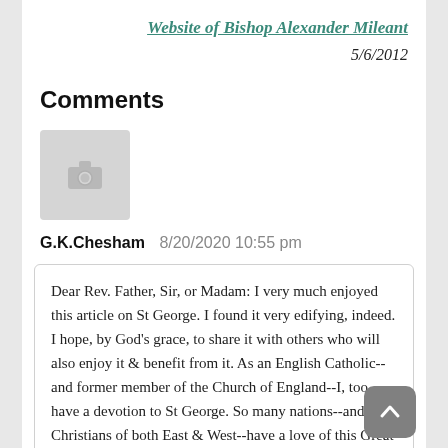Website of Bishop Alexander Mileant
5/6/2012
Comments
[Figure (photo): Gray placeholder avatar box with camera icon]
G.K.Chesham  8/20/2020 10:55 pm
Dear Rev. Father, Sir, or Madam: I very much enjoyed this article on St George. I found it very edifying, indeed. I hope, by God's grace, to share it with others who will also enjoy it & benefit from it. As an English Catholic--and former member of the Church of England--I, too, have a devotion to St George. So many nations--and Christians of both East & West--have a love of this Great Martyr--as well they ought. Thankyou, very much indeed, for your excellent web page, and for your article